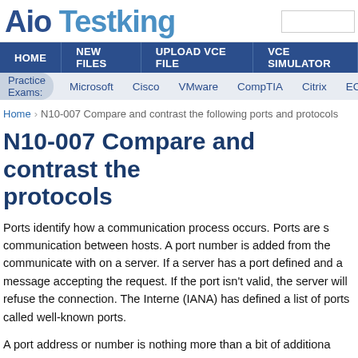Aio Testking
HOME | NEW FILES | UPLOAD VCE FILE | VCE SIMULATOR
Practice Exams: Microsoft  Cisco  VMware  CompTIA  Citrix  ECC
Home > N10-007 Compare and contrast the following ports and protocols
N10-007 Compare and contrast the following ports and protocols
Ports identify how a communication process occurs. Ports are s communication between hosts. A port number is added from the communicate with on a server. If a server has a port defined an a message accepting the request. If the port isn't valid, the server will refuse the connection. The Interne (IANA) has defined a list of ports called well-known ports.
A port address or number is nothing more than a bit of additiona TCP or UDP message. This information is added in the header